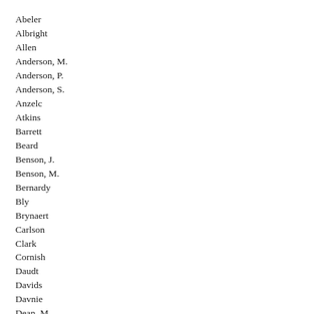Abeler
Albright
Allen
Anderson, M.
Anderson, P.
Anderson, S.
Anzelc
Atkins
Barrett
Beard
Benson, J.
Benson, M.
Bernardy
Bly
Brynaert
Carlson
Clark
Cornish
Daudt
Davids
Davnie
Dean, M.
Dehn, R.
Dill
Dorholt
Drazkowski
Erhardt
Erickson, R.
Erickson, S.